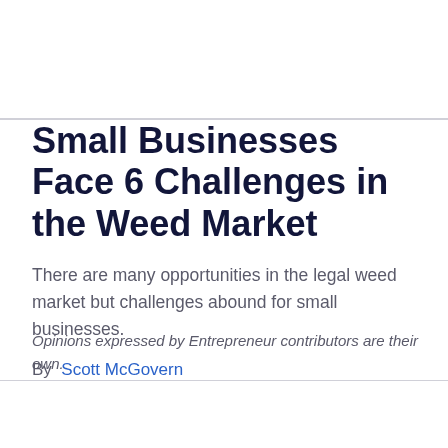Small Businesses Face 6 Challenges in the Weed Market
There are many opportunities in the legal weed market but challenges abound for small businesses.
By Scott McGovern
Opinions expressed by Entrepreneur contributors are their own.